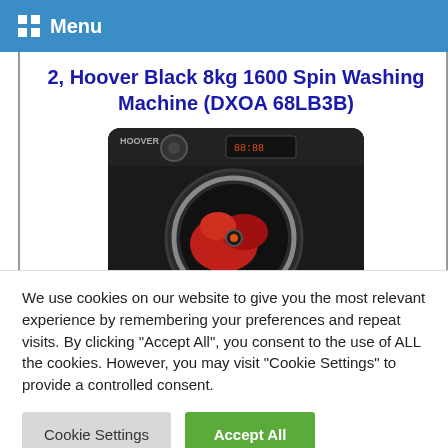Menu
2, Hoover Black 8kg 1600 Spin Washing Machine (DXOA 68LB3B)
[Figure (photo): Photo of a black Hoover washing machine with a circular door showing red laundry inside, control panel with knobs and display visible at top]
We use cookies on our website to give you the most relevant experience by remembering your preferences and repeat visits. By clicking “Accept All”, you consent to the use of ALL the cookies. However, you may visit "Cookie Settings" to provide a controlled consent.
Cookie Settings
Accept All